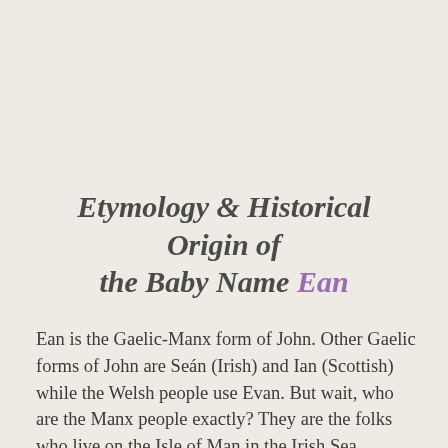Etymology & Historical Origin of the Baby Name Ean
Ean is the Gaelic-Manx form of John. Other Gaelic forms of John are Seán (Irish) and Ian (Scottish) while the Welsh people use Evan. But wait, who are the Manx people exactly? They are the folks who live on the Isle of Man in the Irish Sea between Ireland and the United Kingdom. Like Irish-Gaelic and